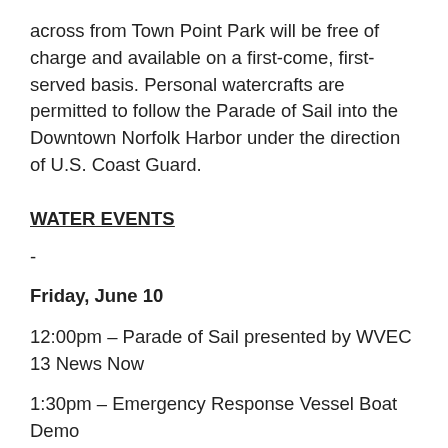across from Town Point Park will be free of charge and available on a first-come, first-served basis. Personal watercrafts are permitted to follow the Parade of Sail into the Downtown Norfolk Harbor under the direction of U.S. Coast Guard.
WATER EVENTS
-
Friday, June 10
12:00pm – Parade of Sail presented by WVEC 13 News Now
1:30pm – Emergency Response Vessel Boat Demo
2:00pm – United States Coast Guard Search & Rescue Demo